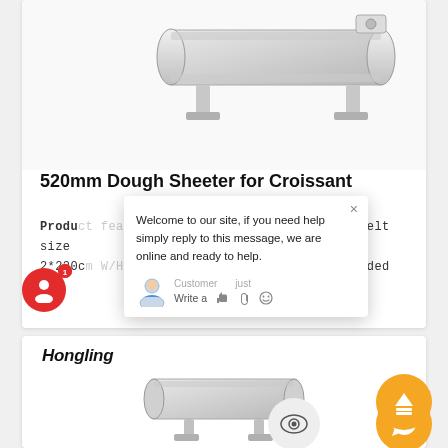[Figure (photo): Product image of a 520mm dough sheeter machine for croissants, metallic stainless steel construction, shown from above-right angle]
520mm Table Top Dough Sheeter for Croissant
Product features: 1. Full SS #201 body. 2. Belt size 2*220cm W/H: 91*74cm 4. Expanded W/H
Welcome to our site, if you need help simply reply to this message, we are online and ready to help.
Customer   just
Write a [like] [attach] [emoji]
[Figure (logo): Hongling brand logo in bold italic text]
[Figure (photo): Bottom portion of a second dough sheeter product listing showing the machine]